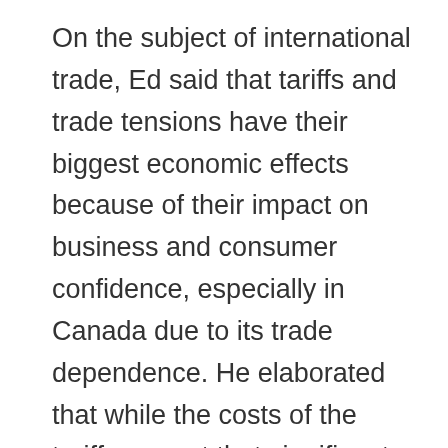On the subject of international trade, Ed said that tariffs and trade tensions have their biggest economic effects because of their impact on business and consumer confidence, especially in Canada due to its trade dependence. He elaborated that while the costs of the tariffs are not that significant, the potential escalation of trade restrictions was a problem – as small economies like Canada and Mexico are most likely to get hurt by these trade tensions. Ed